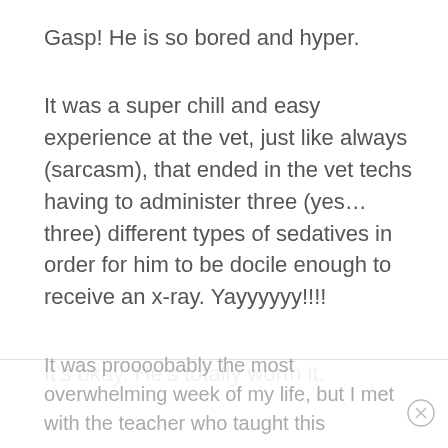Gasp! He is so bored and hyper.
It was a super chill and easy experience at the vet, just like always (sarcasm), that ended in the vet techs having to administer three (yes…three) different types of sedatives in order for him to be docile enough to receive an x-ray. Yayyyyyy!!!!
It's okay. He's totally worth it.
And my first week at my new job (the school year technically doesn't start until the 19th) was crazy!
It was proooobably the most overwhelming week of my life, but I met with the teacher who taught this